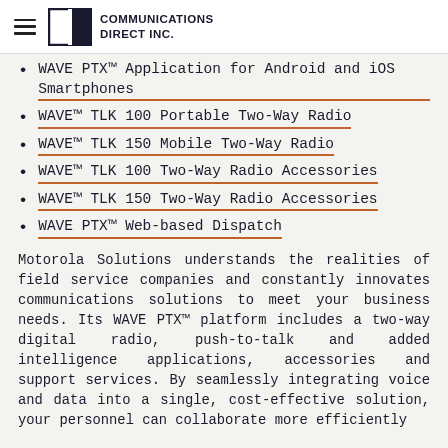COMMUNICATIONS DIRECT INC.
WAVE PTX™ Application for Android and iOS Smartphones
WAVE™ TLK 100 Portable Two-Way Radio
WAVE™ TLK 150 Mobile Two-Way Radio
WAVE™ TLK 100 Two-Way Radio Accessories
WAVE™ TLK 150 Two-Way Radio Accessories
WAVE PTX™ Web-based Dispatch
Motorola Solutions understands the realities of field service companies and constantly innovates communications solutions to meet your business needs. Its WAVE PTX™ platform includes a two-way digital radio, push-to-talk and added intelligence applications, accessories and support services. By seamlessly integrating voice and data into a single, cost-effective solution, your personnel can collaborate more efficiently